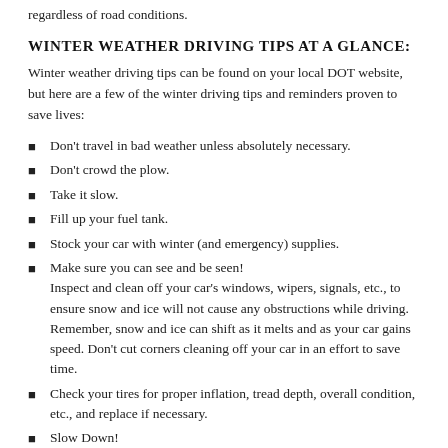regardless of road conditions.
WINTER WEATHER DRIVING TIPS AT A GLANCE:
Winter weather driving tips can be found on your local DOT website, but here are a few of the winter driving tips and reminders proven to save lives:
Don't travel in bad weather unless absolutely necessary.
Don't crowd the plow.
Take it slow.
Fill up your fuel tank.
Stock your car with winter (and emergency) supplies.
Make sure you can see and be seen! Inspect and clean off your car's windows, wipers, signals, etc., to ensure snow and ice will not cause any obstructions while driving. Remember, snow and ice can shift as it melts and as your car gains speed. Don't cut corners cleaning off your car in an effort to save time.
Check your tires for proper inflation, tread depth, overall condition, etc., and replace if necessary.
Slow Down!